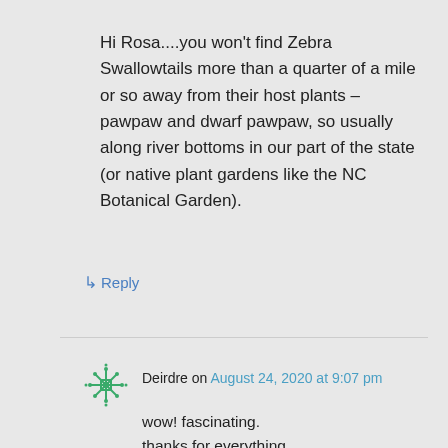Hi Rosa....you won't find Zebra Swallowtails more than a quarter of a mile or so away from their host plants – pawpaw and dwarf pawpaw, so usually along river bottoms in our part of the state (or native plant gardens like the NC Botanical Garden).
↳ Reply
Deirdre on August 24, 2020 at 9:07 pm
wow! fascinating.
thanks for everything.